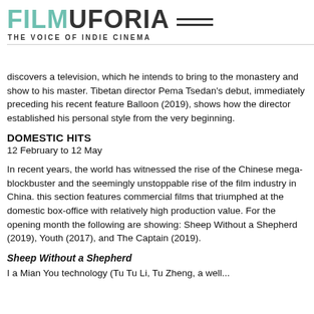FILMUFORIA THE VOICE OF INDIE CINEMA
discovers a television, which he intends to bring to the monastery and show to his master. Tibetan director Pema Tsedan's debut, immediately preceding his recent feature Balloon (2019), shows how the director established his personal style from the very beginning.
DOMESTIC HITS
12 February to 12 May
In recent years, the world has witnessed the rise of the Chinese mega-blockbuster and the seemingly unstoppable rise of the film industry in China. this section features commercial films that triumphed at the domestic box-office with relatively high production value. For the opening month the following are showing: Sheep Without a Shepherd (2019), Youth (2017), and The Captain (2019).
Sheep Without a Shepherd
Li Mian You technology (Tu Tu Li, Tu Zheng, a well...